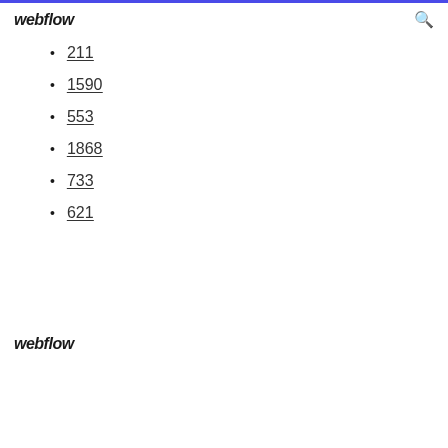webflow
211
1590
553
1868
733
621
webflow